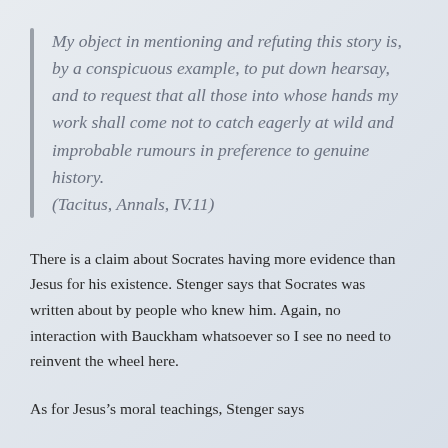My object in mentioning and refuting this story is, by a conspicuous example, to put down hearsay, and to request that all those into whose hands my work shall come not to catch eagerly at wild and improbable rumours in preference to genuine history. (Tacitus, Annals, IV.11)
There is a claim about Socrates having more evidence than Jesus for his existence. Stenger says that Socrates was written about by people who knew him. Again, no interaction with Bauckham whatsoever so I see no need to reinvent the wheel here.
As for Jesus’s moral teachings, Stenger says